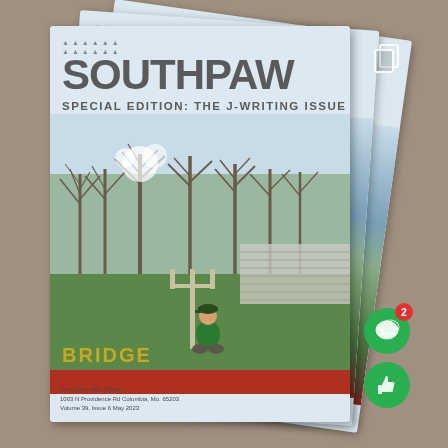[Figure (photo): A stack of 'Southpaw' magazine issues fanned out on a wooden table. The front magazine cover reads 'SOUTHPAW' in large bold letters with 'SPECIAL EDITION: THE J-WRITING ISSUE' as subtitle. The cover photo shows a person in a green shirt sitting on a green field near a goalpost with 'BRIDGE' in gold letters visible. Small text at the bottom lists school address and volume/issue/date info. Social media UI overlay icons visible including a copy icon top-right and green comment and like buttons bottom-right with a red badge showing '2'.]